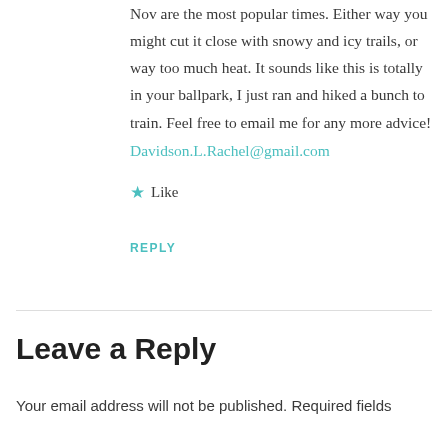Nov are the most popular times. Either way you might cut it close with snowy and icy trails, or way too much heat. It sounds like this is totally in your ballpark, I just ran and hiked a bunch to train. Feel free to email me for any more advice!
Davidson.L.Rachel@gmail.com
★ Like
REPLY
Leave a Reply
Your email address will not be published. Required fields